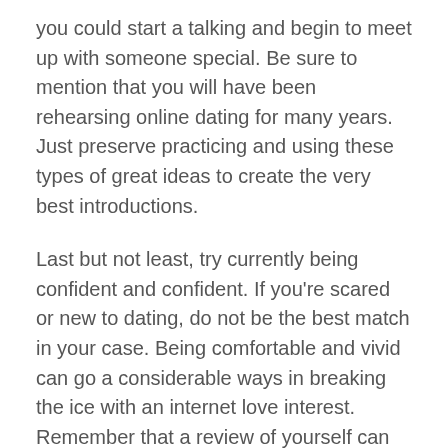you could start a talking and begin to meet up with someone special. Be sure to mention that you will have been rehearsing online dating for many years. Just preserve practicing and using these types of great ideas to create the very best introductions.
Last but not least, try currently being confident and confident. If you're scared or new to dating, do not be the best match in your case. Being comfortable and vivid can go a considerable ways in breaking the ice with an internet love interest. Remember that a review of yourself can be difficult because there is a fine lines between self-assurance and cockiness. Nonetheless, you are able to read the article check with a friend with regards to advice. Eventually, they'll be capable to provide you with a better description of yourself.
Through the first few mins of connection, make sure that get introduced yourself in an honest way. It's also a good idea to comment on other people's profiles or perhaps